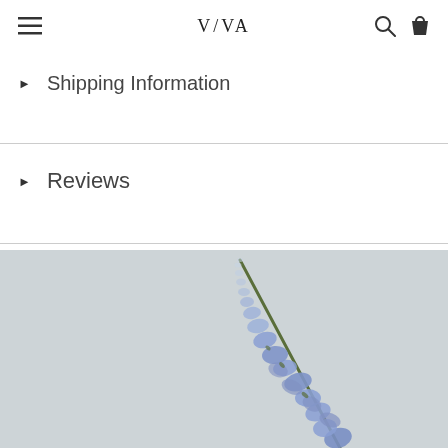VIVA (logo) — navigation bar with hamburger menu, search, and cart icons
▶ Shipping Information
▶ Reviews
[Figure (photo): A single stem of blue/purple delphinium flowers photographed against a light grey background, stem angled diagonally from lower right to upper center.]